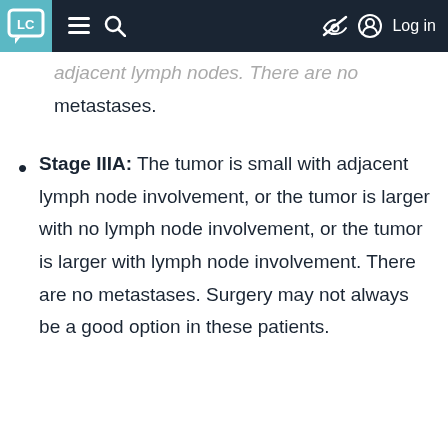LC [logo] navigation bar with menu, search, and Log in
adjacent lymph nodes. There are no metastases.
Stage IIIA: The tumor is small with adjacent lymph node involvement, or the tumor is larger with no lymph node involvement, or the tumor is larger with lymph node involvement. There are no metastases. Surgery may not always be a good option in these patients.